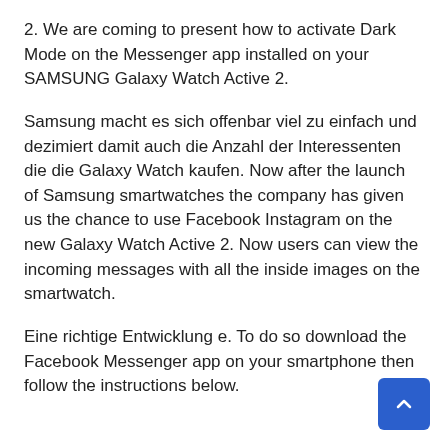2. We are coming to present how to activate Dark Mode on the Messenger app installed on your SAMSUNG Galaxy Watch Active 2.
Samsung macht es sich offenbar viel zu einfach und dezimiert damit auch die Anzahl der Interessenten die die Galaxy Watch kaufen. Now after the launch of Samsung smartwatches the company has given us the chance to use Facebook Instagram on the new Galaxy Watch Active 2. Now users can view the incoming messages with all the inside images on the smartwatch.
Eine richtige Entwicklung e. To do so download the Facebook Messenger app on your smartphone then follow the instructions below.